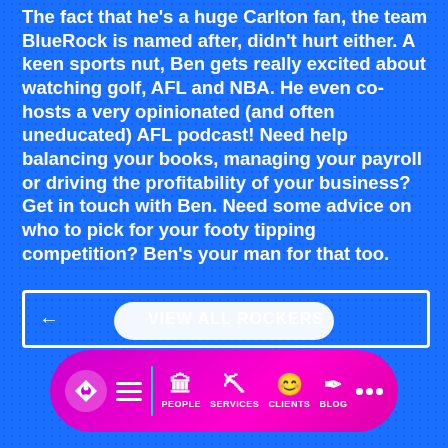The fact that he's a huge Carlton fan, the team BlueRock is named after, didn't hurt either. A keen sports nut, Ben gets really excited about watching golf, AFL and NBA. He even co-hosts a very opinionated (and often uneducated) AFL podcast! Need help balancing your books, managing your payroll or driving the profitability of your business? Get in touch with Ben. Need some advice on who to pick for your footy tipping competition? Ben's your man for that too.
[Figure (screenshot): Navigation button with left arrow and 'VIEW ALL ROCKERS' label, white border on blue background]
[Figure (screenshot): Mobile navigation bar with magenta/purple gradient background, containing a diamond logo, hamburger menu, vertical teal divider, and icons for PEOPLE, SERVICES, CLIENTS, BLOG, and more (ellipsis)]